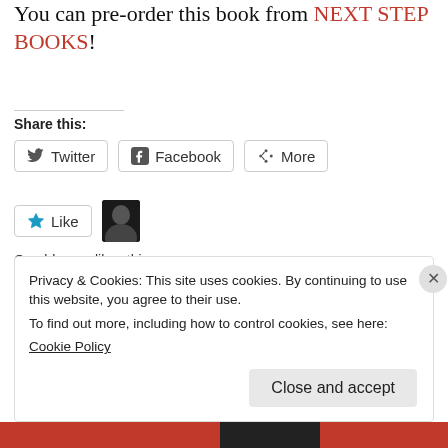You can pre-order this book from NEXT STEP BOOKS!
Share this:
Twitter  Facebook  More
Like
One blogger likes this.
This entry was tagged A Kiss is Still a Kiss, Anthology, Christian fiction, romance, Short stories. Bookmark the permalink.
Privacy & Cookies: This site uses cookies. By continuing to use this website, you agree to their use.
To find out more, including how to control cookies, see here:
Cookie Policy
Close and accept